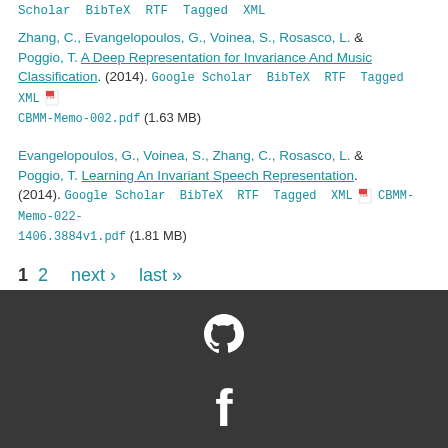Scholar BibTeX RTF Tagged XML
Zhang, C., Evangelopoulos, G., Voinea, S., Rosasco, L. & Poggio, T. A Deep Representation for Invariance And Music Classification. (2014). Google Scholar BibTeX RTF Tagged XML CBMM-Memo-002.pdf (1.63 MB)
Evangelopoulos, G., Voinea, S., Zhang, C., Rosasco, L. & Poggio, T. Learning An Invariant Speech Representation. (2014). Google Scholar BibTeX RTF Tagged XML CBMM-Memo-022-1406.3884v1.pdf (1.81 MB)
1 2 next › last »
[Figure (logo): GitHub logo (white octocat icon on dark background)]
[Figure (logo): Facebook logo (white 'f' icon on dark background)]